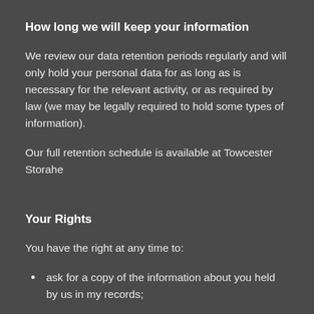How long we will keep your information
We review our data retention periods regularly and will only hold your personal data for as long as is necessary for the relevant activity, or as required by law (we may be legally required to hold some types of information).
Our full retention schedule is available at Towcester Storahe
Your Rights
You have the right at any time to:
ask for a copy of the information about you held by us in my records;